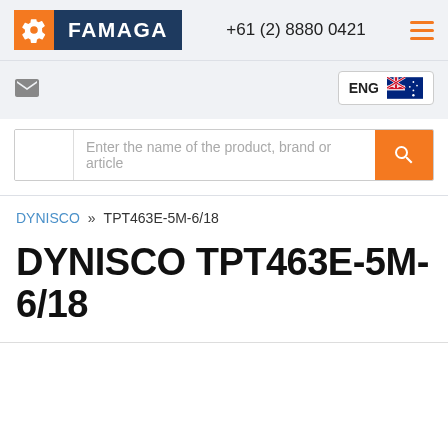FAMAGA +61 (2) 8880 0421
[Figure (logo): Famaga logo with orange gear icon and dark navy blue text block]
Enter the name of the product, brand or article
DYNISCO » TPT463E-5M-6/18
DYNISCO TPT463E-5M-6/18